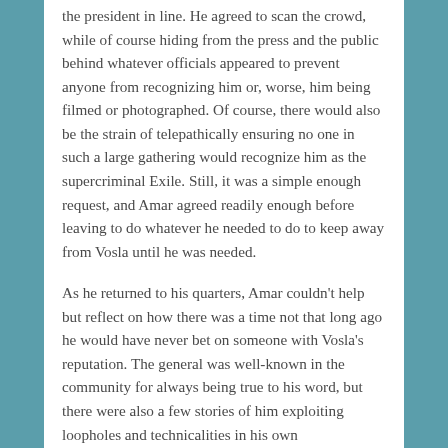the president in line. He agreed to scan the crowd, while of course hiding from the press and the public behind whatever officials appeared to prevent anyone from recognizing him or, worse, him being filmed or photographed. Of course, there would also be the strain of telepathically ensuring no one in such a large gathering would recognize him as the supercriminal Exile. Still, it was a simple enough request, and Amar agreed readily enough before leaving to do whatever he needed to do to keep away from Vosla until he was needed.
As he returned to his quarters, Amar couldn't help but reflect on how there was a time not that long ago he would have never bet on someone with Vosla's reputation. The general was well-known in the community for always being true to his word, but there were also a few stories of him exploiting loopholes and technicalities in his own agreements with troublesome or difficult enemies. B...